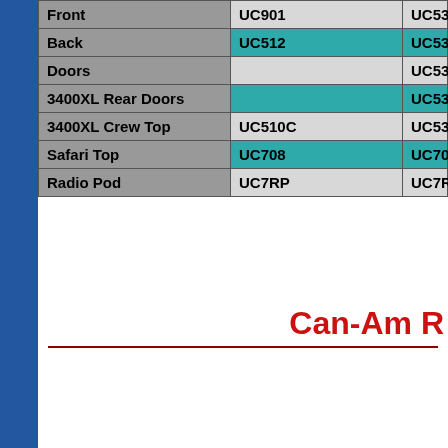|  | Col2 | Col3 |
| --- | --- | --- |
| Front | UC901 | UC531 |
| Back | UC512 | UC532 |
| Doors |  | UC535 |
| 3400XL Rear Doors |  | UC535X |
| 3400XL Crew Top | UC510C | UC530X |
| Safari Top | UC708 | UC708 |
| Radio Pod | UC7RP | UC7RP |
Can-Am R